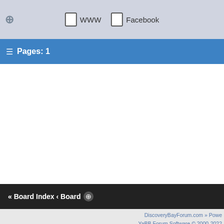WWW  Facebook
Pages: 1
« Board Index ‹ Board
DiscoveryBayForum.com » Powered by YaBB Forum Software © 2000-2022
RSS | XHTML 1.0 | CSS | 44715982 View My Stats